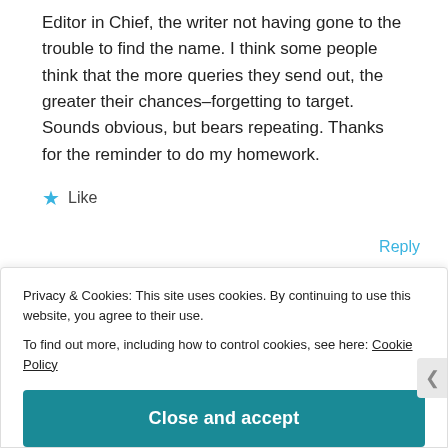Editor in Chief, the writer not having gone to the trouble to find the name. I think some people think that the more queries they send out, the greater their chances–forgetting to target. Sounds obvious, but bears repeating. Thanks for the reminder to do my homework.
★ Like
Reply
Privacy & Cookies: This site uses cookies. By continuing to use this website, you agree to their use. To find out more, including how to control cookies, see here: Cookie Policy
Close and accept